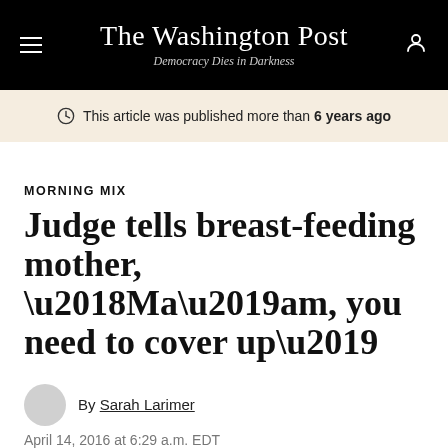The Washington Post — Democracy Dies in Darkness
This article was published more than 6 years ago
MORNING MIX
Judge tells breast-feeding mother, ‘Ma’am, you need to cover up’
By Sarah Larimer
April 14, 2016 at 6:29 a.m. EDT